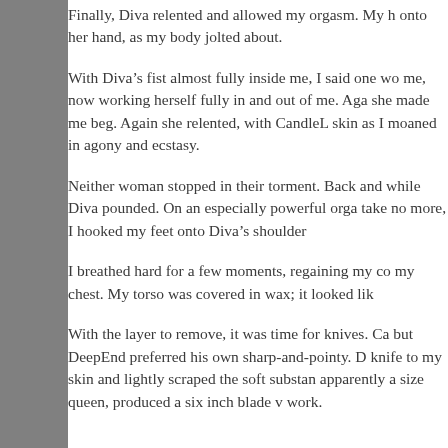Finally, Diva relented and allowed my orgasm. My h onto her hand, as my body jolted about.
With Diva’s fist almost fully inside me, I said one wo me, now working herself fully in and out of me. Aga she made me beg. Again she relented, with CandleL skin as I moaned in agony and ecstasy.
Neither woman stopped in their torment. Back and while Diva pounded. On an especially powerful orga take no more, I hooked my feet onto Diva’s shoulder
I breathed hard for a few moments, regaining my co my chest. My torso was covered in wax; it looked lik
With the layer to remove, it was time for knives. Ca but DeepEnd preferred his own sharp-and-pointy. D knife to my skin and lightly scraped the soft substan apparently a size queen, produced a six inch blade v work.